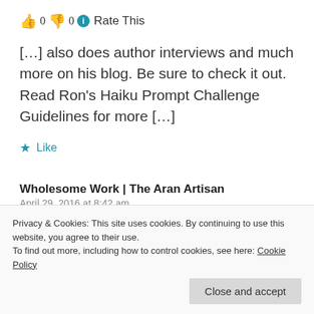👍 0 👎 0 ℹ Rate This
[…] also does author interviews and much more on his blog. Be sure to check it out. Read Ron's Haiku Prompt Challenge Guidelines for more […]
★ Like
Wholesome Work | The Aran Artisan
April 29, 2016 at 8:42 am
👍 0 👎 0 ℹ Rate This
friends (myself included) who's word
Privacy & Cookies: This site uses cookies. By continuing to use this website, you agree to their use.
To find out more, including how to control cookies, see here: Cookie Policy